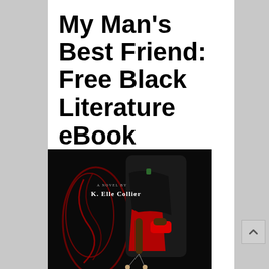My Man's Best Friend: Free Black Literature eBook
[Figure (illustration): Book cover for 'My Man's Best Friend', a novel by K. Elle Collier. Dark background with a woman in a black dress with red accents holding marionette puppet strings attached to two small wooden figures. Red swirling design elements in background.]